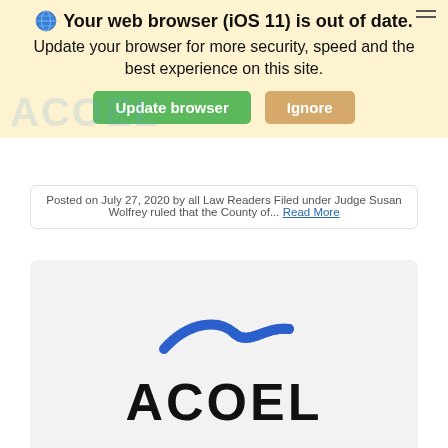[Figure (screenshot): Browser update notification banner with globe/shield icon, bold title 'Your web browser (iOS 11) is out of date.', subtitle text 'Update your browser for more security, speed and the best experience on this site.', and two buttons: green 'Update browser' and tan 'Ignore']
ruled that the County of... Read More
[Figure (logo): ACOEL logo: blue swoosh/wave shape above bold black text 'ACOEL' on light gray background]
WE'RE NUMBER THREE!